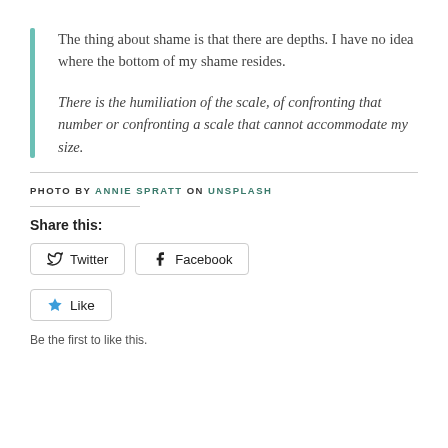The thing about shame is that there are depths. I have no idea where the bottom of my shame resides.
There is the humiliation of the scale, of confronting that number or confronting a scale that cannot accommodate my size.
PHOTO BY ANNIE SPRATT ON UNSPLASH
Share this:
Twitter
Facebook
Like
Be the first to like this.